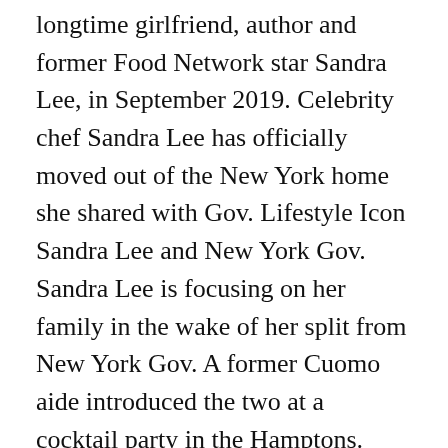longtime girlfriend, author and former Food Network star Sandra Lee, in September 2019. Celebrity chef Sandra Lee has officially moved out of the New York home she shared with Gov. Lifestyle Icon Sandra Lee and New York Gov. Sandra Lee is focusing on her family in the wake of her split from New York Gov. A former Cuomo aide introduced the two at a cocktail party in the Hamptons. While the couple split up over a year ago, moving out was still a devastating moment for Lee, who penned a tribute to her time in there on Instagram. The celebrity chef, 54, was spotted on ... Even though her breakup from Gov. Lee, 54, was photographed loading boxes into a moving van on Monday. Lee Calls Cuomo 'Loyal &